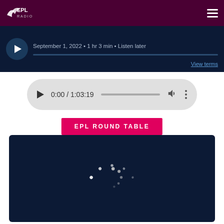EPL Radio logo and navigation
September 1, 2022 • 1 hr 3 min • Listen later
View terms
0:00 / 1:03:19
EPL ROUND TABLE
[Figure (screenshot): Dark navy video/content loading area with spinning loading indicator dots]